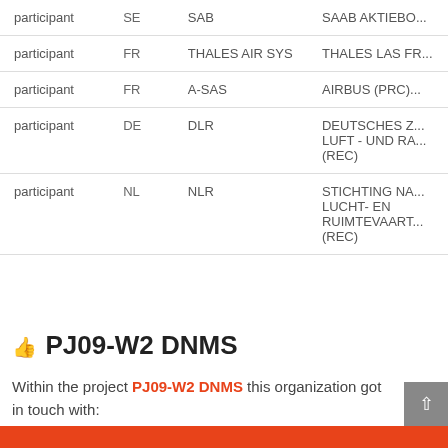| Role | Country | Short Name | Full Name |
| --- | --- | --- | --- |
| participant | SE | SAB | SAAB AKTIEBO... |
| participant | FR | THALES AIR SYS | THALES LAS FR... |
| participant | FR | A-SAS | AIRBUS (PRC)... |
| participant | DE | DLR | DEUTSCHES Z... LUFT - UND RA... (REC) |
| participant | NL | NLR | STICHTING NA... LUCHT- EN RUIMTEVAART... (REC) |
PJ09-W2 DNMS
Within the project PJ09-W2 DNMS this organization got in touch with: